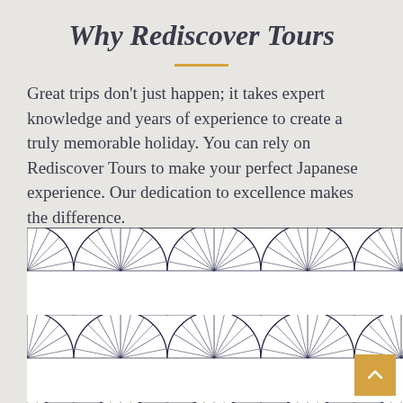Why Rediscover Tours
Great trips don't just happen; it takes expert knowledge and years of experience to create a truly memorable holiday. You can rely on Rediscover Tours to make your perfect Japanese experience. Our dedication to excellence makes the difference.
[Figure (illustration): Decorative Japanese-style fan/scallop pattern in dark navy and white, repeating tile pattern.]